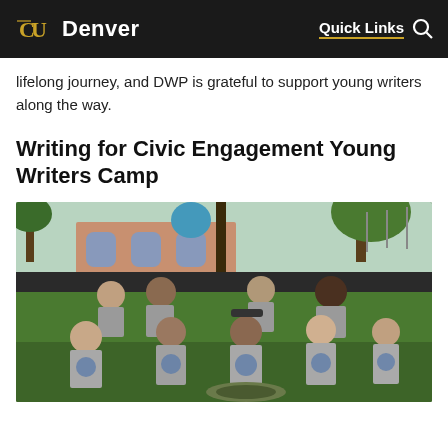CU Denver | Quick Links
lifelong journey, and DWP is grateful to support young writers along the way.
Writing for Civic Engagement Young Writers Camp
[Figure (photo): Group of young students wearing matching gray camp t-shirts sitting on grass outdoors, with a pink building and trees visible in the background.]